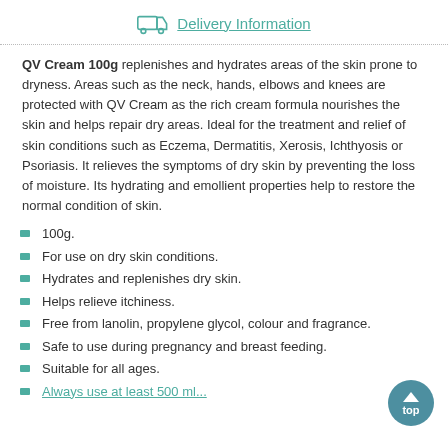Delivery Information
QV Cream 100g replenishes and hydrates areas of the skin prone to dryness. Areas such as the neck, hands, elbows and knees are protected with QV Cream as the rich cream formula nourishes the skin and helps repair dry areas. Ideal for the treatment and relief of skin conditions such as Eczema, Dermatitis, Xerosis, Ichthyosis or Psoriasis. It relieves the symptoms of dry skin by preventing the loss of moisture. Its hydrating and emollient properties help to restore the normal condition of skin.
100g.
For use on dry skin conditions.
Hydrates and replenishes dry skin.
Helps relieve itchiness.
Free from lanolin, propylene glycol, colour and fragrance.
Safe to use during pregnancy and breast feeding.
Suitable for all ages.
Always use at least 500 ml...